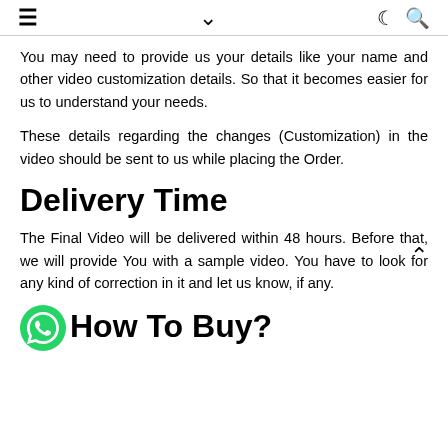≡  ∨  ☾ 🔍
You may need to provide us your details like your name and other video customization details. So that it becomes easier for us to understand your needs.
These details regarding the changes (Customization) in the video should be sent to us while placing the Order.
Delivery Time
The Final Video will be delivered within 48 hours. Before that, we will provide You with a sample video. You have to look for any kind of correction in it and let us know, if any.
How To Buy?